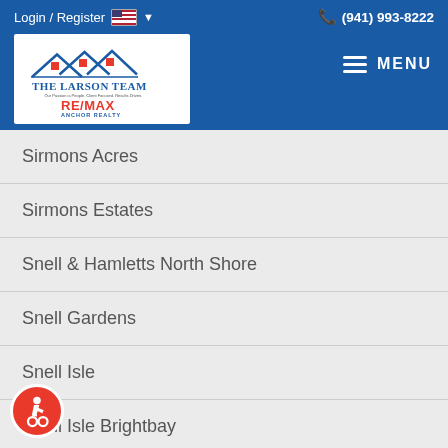Login / Register  (941) 993-8222  MENU
[Figure (logo): The Larson Team RE/MAX Anchor Realty logo with house roof graphic]
Sirmons Acres
Sirmons Estates
Snell & Hamletts North Shore
Snell Gardens
Snell Isle
Snell Isle Brightbay
Snell Isle Brightwaters
Snell Isle Shores
[Figure (illustration): Accessibility wheelchair icon in a red circle]